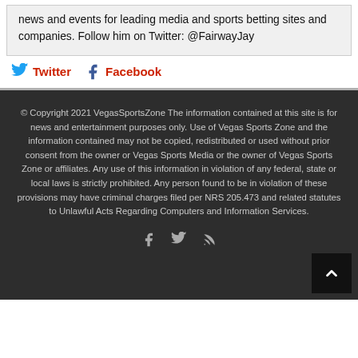news and events for leading media and sports betting sites and companies. Follow him on Twitter: @FairwayJay
Twitter  Facebook
© Copyright 2021 VegasSportsZone The information contained at this site is for news and entertainment purposes only. Use of Vegas Sports Zone and the information contained may not be copied, redistributed or used without prior consent from the owner or Vegas Sports Media or the owner of Vegas Sports Zone or affiliates. Any use of this information in violation of any federal, state or local laws is strictly prohibited. Any person found to be in violation of these provisions may have criminal charges filed per NRS 205.473 and related statutes to Unlawful Acts Regarding Computers and Information Services.